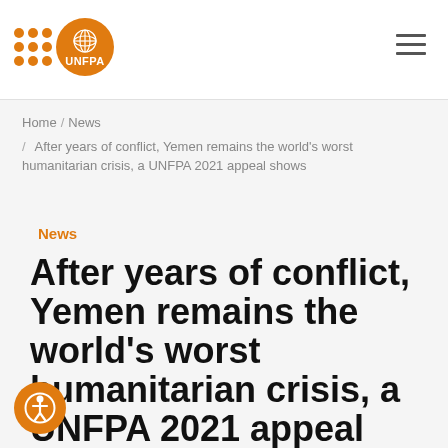[Figure (logo): UNFPA logo with orange dot grid and orange circle containing UN emblem and UNFPA text]
UNFPA website header with logo and hamburger menu
Home / News / After years of conflict, Yemen remains the world's worst humanitarian crisis, a UNFPA 2021 appeal shows
News
After years of conflict, Yemen remains the world's worst humanitarian crisis, a UNFPA 2021 appeal